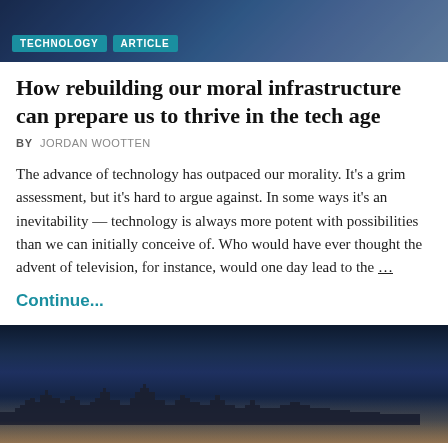[Figure (photo): Top banner photo with a dark background and TECHNOLOGY and ARTICLE tags overlaid]
How rebuilding our moral infrastructure can prepare us to thrive in the tech age
BY JORDAN WOOTTEN
The advance of technology has outpaced our morality. It's a grim assessment, but it's hard to argue against. In some ways it's an inevitability — technology is always more potent with possibilities than we can initially conceive of. Who would have ever thought the advent of television, for instance, would one day lead to the …
Continue...
[Figure (photo): Night cityscape photo showing city lights and dark blue sky]